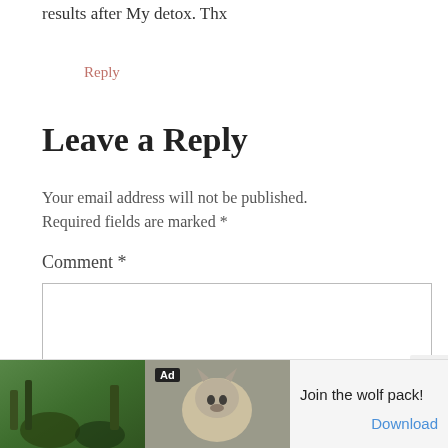results after My detox. Thx
Reply
Leave a Reply
Your email address will not be published. Required fields are marked *
Comment *
[Figure (screenshot): Empty comment text area input box with border]
[Figure (screenshot): Ad banner at bottom: wolf pack game advertisement with 'Join the wolf pack!' text and Download link]